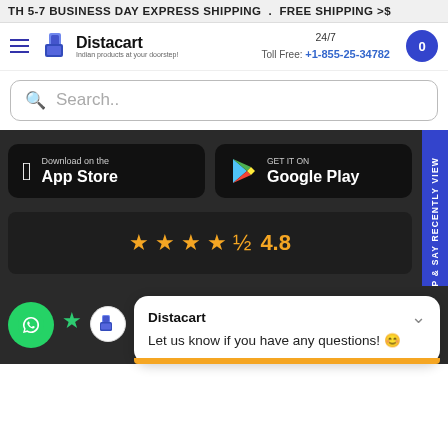TH 5-7 BUSINESS DAY EXPRESS SHIPPING . FREE SHIPPING >$
[Figure (logo): Distacart logo with shopping bag icon and tagline 'Indian products at your doorstep!']
24/7
Toll Free: +1-855-25-34782
Search..
[Figure (other): Download on the App Store button (black background, white Apple icon and text)]
[Figure (other): GET IT ON Google Play button (black background, Google Play triangle icon and text)]
[Figure (other): Star rating display showing 4.8 out of 5 stars with 4 full stars and 1 half star]
Sign up & say Recently View
[Figure (other): WhatsApp chat bubble icon (green circle with phone handset)]
[Figure (logo): Distacart mini logo (small shopping bag icon on white circle)]
Distacart
Let us know if you have any questions! 😊